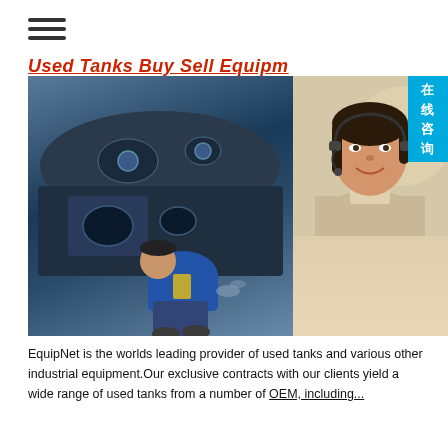≡
Used Tanks Buy Sell Equipm...
[Figure (photo): Industrial worker inspecting/welding inside a large metal tank component, combined with a customer service representative wearing a headset, with Chinese online consultation badge, manual service info, quoting online, and email bsteel1@163.com]
EquipNet is the worlds leading provider of used tanks and various other industrial equipment.Our exclusive contracts with our clients yield a wide range of used tanks from a number of OEM, including... [truncated]